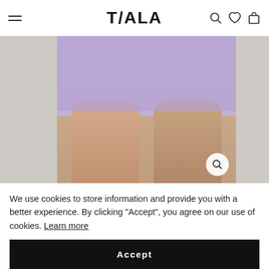TALA
[Figure (photo): Product photo of lavender/purple seamless sports shorts worn by a model, showing legs and lower torso against a neutral background. Image carousel with 5 dots, 4th dot active. Zoom button visible bottom right of center image.]
ZAHADA SEAMLESS SPORTS
We use cookies to store information and provide you with a better experience. By clicking “Accept”, you agree on our use of cookies. Learn more
Accept